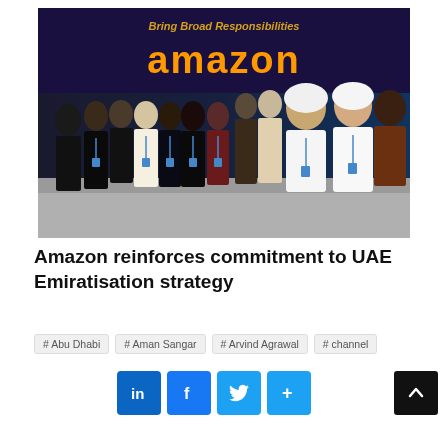[Figure (photo): Group photo of approximately 15 people standing in front of an Amazon branded wall that reads 'Bring Broad Responsibilities' with the Amazon logo. People are dressed in a mix of traditional Emirati attire and business casual clothing, many wearing lanyards/badges.]
Amazon reinforces commitment to UAE Emiratisation strategy
#Abu Dhabi
#Aman Sangar
#Arvind Agrawal
#channel